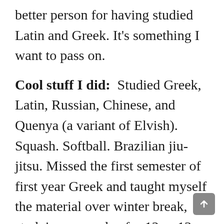better person for having studied Latin and Greek. It’s something I want to pass on.
Cool stuff I did: Studied Greek, Latin, Russian, Chinese, and Quenya (a variant of Elvish). Squash. Softball. Brazilian jiu-jitsu. Missed the first semester of first year Greek and taught myself the material over winter break, studying every day for 12 or 13 hours. Memorized every rule and every form. (Wally adds, “He joined the class halfway through and ended with an A+ for the course!”) Class of ‘21 award.
Adviser: Wally Englert